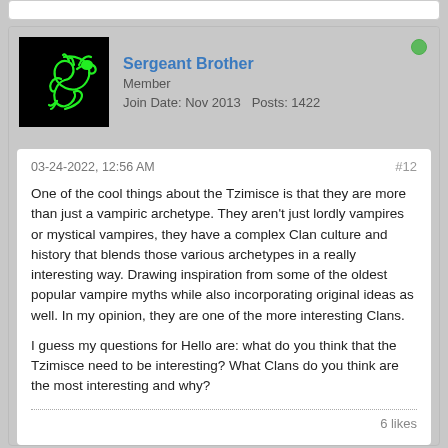[Figure (screenshot): Top sliver of a previous forum post block]
Sergeant Brother
Member
Join Date: Nov 2013   Posts: 1422
03-24-2022, 12:56 AM
#12
One of the cool things about the Tzimisce is that they are more than just a vampiric archetype. They aren't just lordly vampires or mystical vampires, they have a complex Clan culture and history that blends those various archetypes in a really interesting way. Drawing inspiration from some of the oldest popular vampire myths while also incorporating original ideas as well. In my opinion, they are one of the more interesting Clans.

I guess my questions for Hello are: what do you think that the Tzimisce need to be interesting? What Clans do you think are the most interesting and why?
6 likes
Kharnov
Member